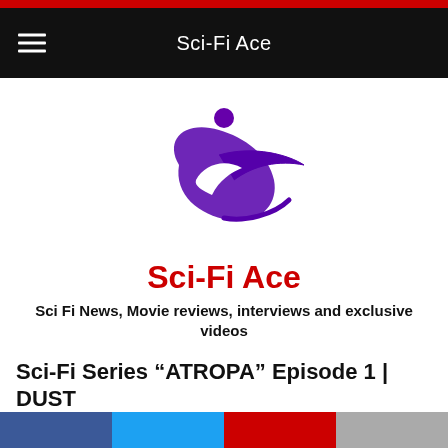Sci-Fi Ace
[Figure (logo): Sci-Fi Ace logo: purple figure with crescent swoosh and dot above]
Sci-Fi Ace
Sci Fi News, Movie reviews, interviews and exclusive videos
Sci-Fi Series “ATROPA” Episode 1 | DUST
September 16, 2021